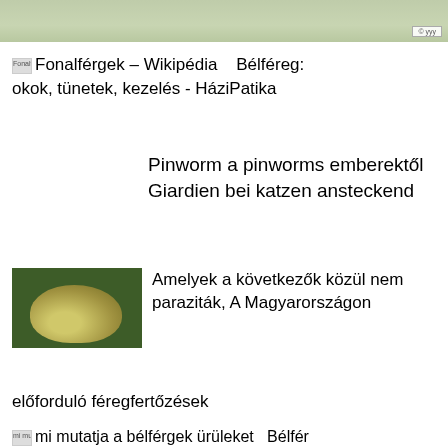[Figure (screenshot): Map/aerial view strip at top of page with a small badge in bottom-right corner]
Fonalférgek – Wikipédia   Bélféreg: okok, tünetek, kezelés - HáziPatika
Pinworm a pinworms emberektől Giardien bei katzen ansteckend
[Figure (photo): Close-up photo of a worm/parasite on a green background]
Amelyek a következők közül nem paraziták, A Magyarországon előforduló féregfertőzések
mi mutatja a bélférgek ürüleket   Bélfér eg, Bélférgesség - Betegségek | Budai Egészségközpont
Bélféreg, Bélférgesség - Betegsegek | Budai Egészségközpont